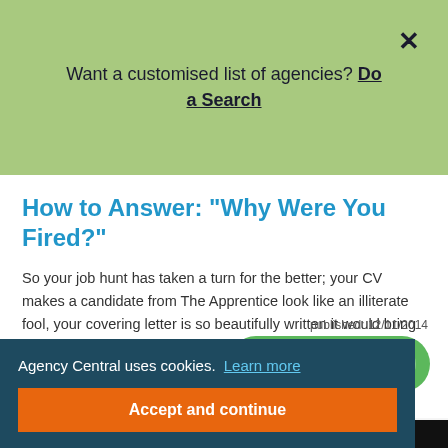Want a customised list of agencies? Do a Search
How to Answer: "Why Were You Fired?"
So your job hunt has taken a turn for the better; your CV makes a candidate from The Apprentice look like an illiterate fool, your covering letter is so beautifully written it would bring a tear of joy to Agatha Christie's eye and the interview is going so well you may as well be called Tony Stark. Then, suddenly one question comes up and all the
Agency Central uses cookies. Learn more
Accept and continue
published: 12/11/2014
staff quickly
t with us